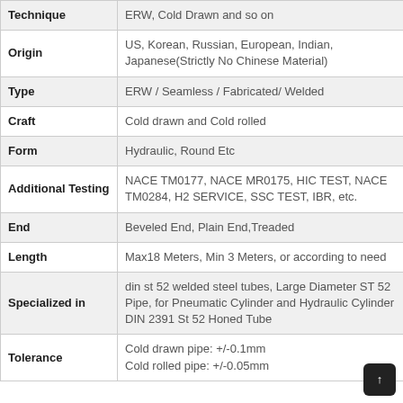| Property | Value |
| --- | --- |
| Technique | ERW, Cold Drawn and so on |
| Origin | US, Korean, Russian, European, Indian, Japanese(Strictly No Chinese Material) |
| Type | ERW / Seamless / Fabricated/ Welded |
| Craft | Cold drawn and Cold rolled |
| Form | Hydraulic, Round Etc |
| Additional Testing | NACE TM0177, NACE MR0175, HIC TEST, NACE TM0284, H2 SERVICE, SSC TEST, IBR, etc. |
| End | Beveled End, Plain End,Treaded |
| Length | Max18 Meters, Min 3 Meters, or according to need |
| Specialized in | din st 52 welded steel tubes, Large Diameter ST 52 Pipe, for Pneumatic Cylinder and Hydraulic Cylinder DIN 2391 St 52 Honed Tube |
| Tolerance | Cold drawn pipe: +/-0.1mm
Cold rolled pipe: +/-0.05mm |